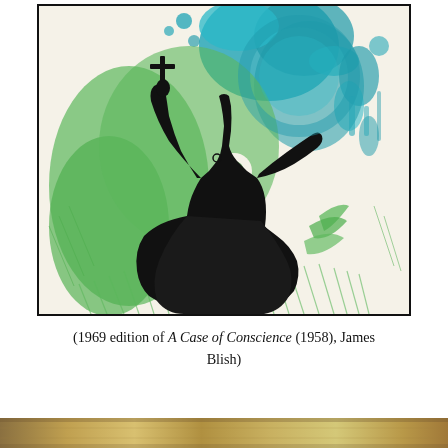[Figure (illustration): Book cover illustration showing a black silhouette of a robed figure holding up a cross with one arm raised, surrounded by green and teal/blue brushstroke figures of creatures or monsters, on a cream background.]
(1969 edition of A Case of Conscience (1958), James Blish)
[Figure (photo): Bottom strip showing partial view of another book cover with golden/ochre tones.]